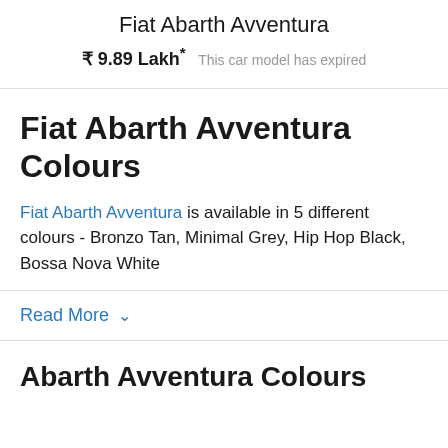Fiat Abarth Avventura
₹ 9.89 Lakh* This car model has expired
Fiat Abarth Avventura Colours
Fiat Abarth Avventura is available in 5 different colours - Bronzo Tan, Minimal Grey, Hip Hop Black, Bossa Nova White
Read More
Abarth Avventura Colours